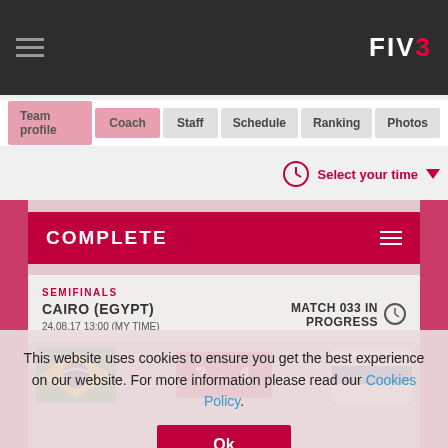FIVB website header with hamburger menu and FIVB logo
Team profile | Coach | Staff | Schedule | Ranking | Photos
Select your time
COMPLETE
SEMIFINALS
CAIRO (EGYPT)
24.08.17 13:00 (MY TIME)
MATCH 033 IN PROGRESS
[Figure (infographic): Brazil flag vs unknown team flag with score 3-4]
This website uses cookies to ensure you get the best experience on our website. For more information please read our Cookies Policy.
Ok